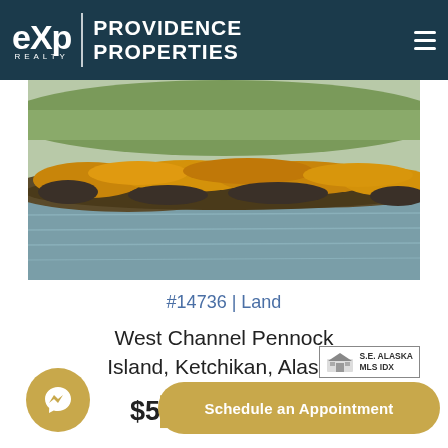eXp Realty | Providence Properties
[Figure (photo): Coastal landscape with golden seaweed/kelp along rocky shoreline, teal-gray water, distant green hills]
#14736 | Land
West Channel Pennock Island, Ketchikan, Alaska 99901
[Figure (logo): S.E. Alaska MLS IDX badge with house icon]
$5[price partially obscured]
Schedule an Appointment